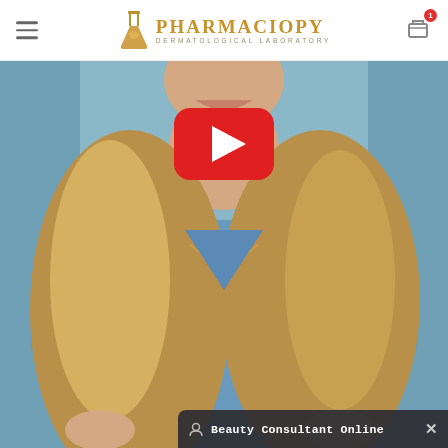PHARMACIOPY DERMATOLOGICAL LABORATORY
[Figure (screenshot): Website screenshot showing Pharmaciopy Dermatological Laboratory page with a YouTube video thumbnail of a woman with long blonde hair wearing a blue shirt, with a YouTube play button overlay in the center, and a Beauty Consultant Online chat bar at the bottom right]
Beauty Consultant Online